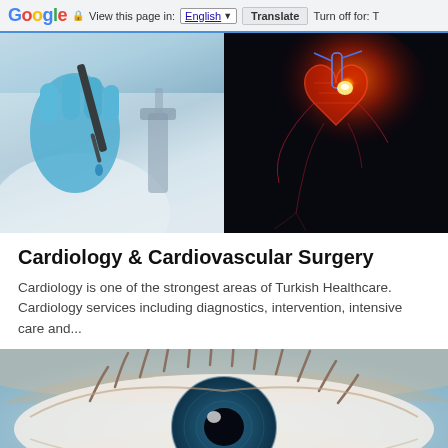Google  View this page in: English  Translate  Turn off for: T
[Figure (photo): Split composite image: left side shows a scientist/researcher wearing blue latex gloves using a pipette near a microscope in a laboratory; right side shows a digital medical illustration of a human heart with red/orange glowing areas suggesting cardiac imaging or disease visualization on a dark background.]
Cardiology & Cardiovascular Surgery
Cardiology is one of the strongest areas of Turkish Healthcare. Cardiology services including diagnostics, intervention, intensive care and...
[Figure (photo): Close-up photograph of a child's or person's eye with long eyelashes, against a light blue/grey background, suggesting ophthalmology content.]